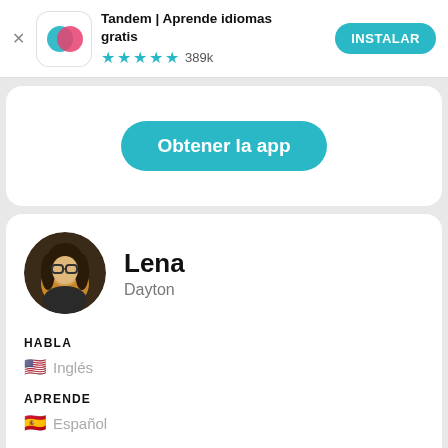[Figure (screenshot): Tandem app ad banner with app icon (teal and pink overlapping speech bubbles), app title 'Tandem | Aprende idiomas gratis', 4.5 star rating with 389k reviews, and INSTALAR button]
[Figure (screenshot): White card with teal rounded button 'Obtener la app']
[Figure (photo): Circular profile photo of Lena, a young woman with blonde hair and glasses]
Lena
Dayton
HABLA
🇺🇸 Inglés
APRENDE
🇪🇸 Español